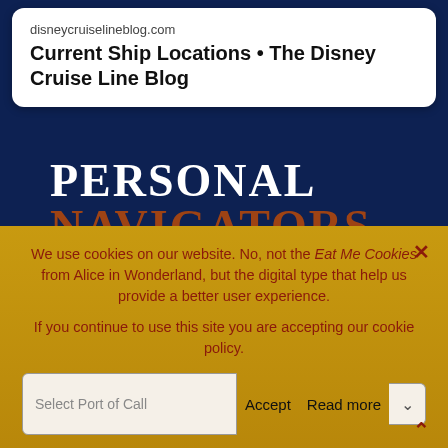[Figure (screenshot): Browser search result card showing disneycruiselineblog.com - Current Ship Locations • The Disney Cruise Line Blog]
PERSONAL NAVIGATORS
We use cookies on our website. No, not the Eat Me Cookies from Alice in Wonderland, but the digital type that help us provide a better user experience. If you continue to use this site you are accepting our cookie policy.
Select Port of Call  Accept  Read more